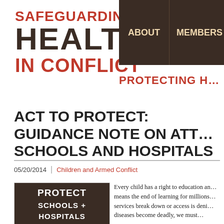[Figure (logo): Safeguarding Health in Conflict logo with red and dark brown text]
ABOUT  MEMBERS
ACT TO PROTECT: GUIDANCE NOTE ON ATT… SCHOOLS AND HOSPITALS
05/20/2014 | Children and Armed Conflict
[Figure (photo): PROTECT SCHOOLS + HOSPITALS text image with dark background]
Every child has a right to education an… means the end of learning for millions… services break down or access is deni… diseases become deadly, we must…